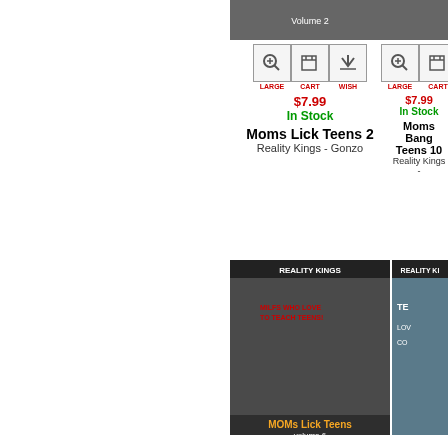[Figure (photo): DVD cover for Moms Lick Teens 2, Reality Kings]
[Figure (photo): DVD cover for Moms Bang Teens 10, Reality Kings (partially cropped)]
$7.99
In Stock
Moms Lick Teens 2
Reality Kings - Gonzo
$7.99
In Stock
Moms Bang Teens 10
Reality Kings -
[Figure (photo): DVD cover for Moms Lick Teens Volume 6, Reality Kings]
[Figure (photo): DVD cover partially cropped on right side, Reality Kings]